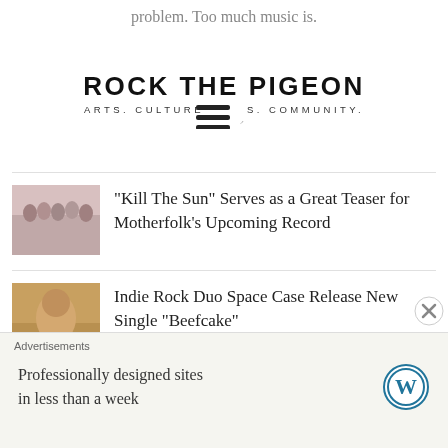problem. Too much music is.
[Figure (screenshot): Rock The Pigeon website logo with tagline ARTS. CULTURE IDS. COMMUNITY. and hamburger menu icon overlaying a ghost article title]
Zachary Ives and Nashville, Led by Man Overboard's Zac Eisenstein, Release New Single "Push Start (Everybody Knows)"
[Figure (photo): Thumbnail of a band group photo with pink background]
"Kill The Sun" Serves as a Great Teaser for Motherfolk's Upcoming Record
[Figure (photo): Thumbnail of a person in warm tones]
Indie Rock Duo Space Case Release New Single "Beefcake"
[Figure (photo): Thumbnail of a person in tan tones]
The Backseat Lovers, Release New
Advertisements
Professionally designed sites in less than a week